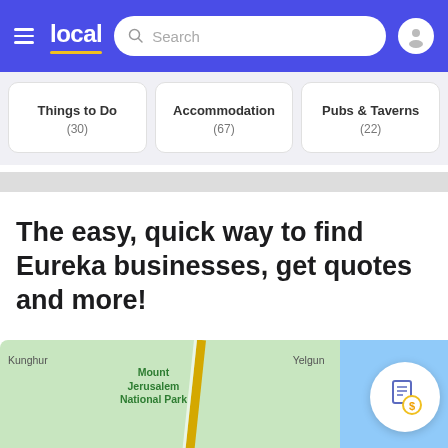local — Search bar header with navigation
Things to Do (30)
Accommodation (67)
Pubs & Taverns (22)
The easy, quick way to find Eureka businesses, get quotes and more!
[Figure (map): Map showing Kunghur, Mount Jerusalem National Park, Yelgun with a yellow road and blue sea area on the right. A white circular quote/document icon is overlaid bottom-right.]